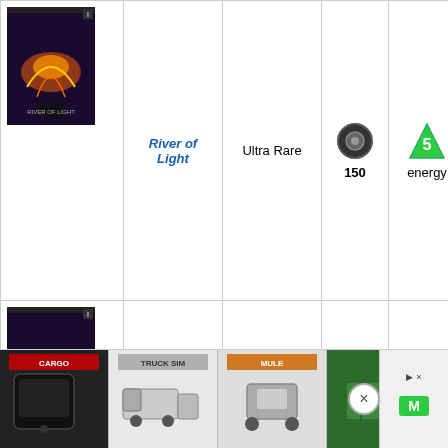| Image | Name | Rarity | Ammo | Energy | Description |
| --- | --- | --- | --- | --- | --- |
| [card image] | River of Light | Ultra Rare | 150 | 5 energy | advances. A proved fruit Improved Incineration. Cannon tha unleash a lo burst of en blasts if all to charge u holding the trigger. |
| [card image] | Heartseeker | Legendary | 200 | 6 energy | Forerunner Warrior-Ser were relent. on the hunt Advanced Incieration Cannon tha king en rges. |
[Figure (infographic): Advertisement banner with six product thumbnail images and a close button, plus a branded icon on the right side.]